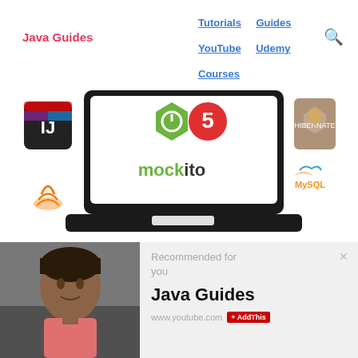Java Guides | Tutorials | Guides | YouTube | Udemy | Courses
[Figure (screenshot): Java Guides website banner showing Spring Boot 5 and Mockito logos on a laptop screen, with IntelliJ IDEA logo, Java logo, Hibernate logo, and MySQL logo around it]
[Figure (photo): Portrait photo of a young man — the Java Guides YouTube channel author]
Recommended for you
Java Guides
www.youtube.com
AddThis